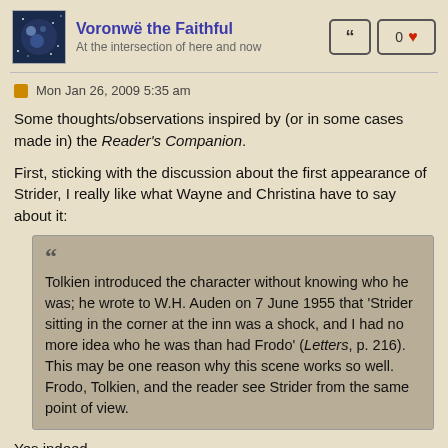Voronwë the Faithful — At the intersection of here and now
Mon Jan 26, 2009 5:35 am
Some thoughts/observations inspired by (or in some cases made in) the Reader's Companion.
First, sticking with the discussion about the first appearance of Strider, I really like what Wayne and Christina have to say about it:
Tolkien introduced the character without knowing who he was; he wrote to W.H. Auden on 7 June 1955 that 'Strider sitting in the corner at the inn was a shock, and I had no more idea who he was than had Frodo' (Letters, p. 216). This may be one reason why this scene works so well. Frodo, Tolkien, and the reader see Strider from the same point of view.
Yes indeed.
Going back to the beginning of the chapter, W and C point out that the names of the other villages of the Breeland -- Staddle, Combe,